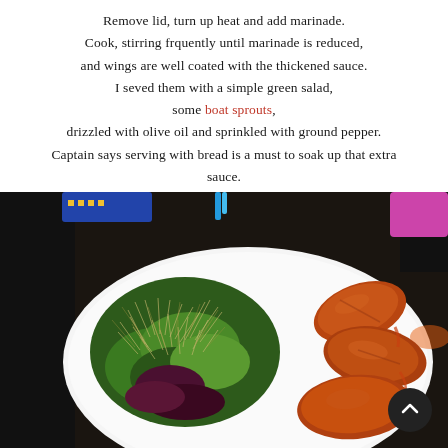Remove lid, turn up heat and add marinade. Cook, stirring frquently until marinade is reduced, and wings are well coated with the thickened sauce. I seved them with a simple green salad, some boat sprouts, drizzled with olive oil and sprinkled with ground pepper. Captain says serving with bread is a must to soak up that extra sauce.
[Figure (photo): A white plate with chicken wings glazed in a dark sauce and a green salad topped with sprouts, set on a dark table background.]